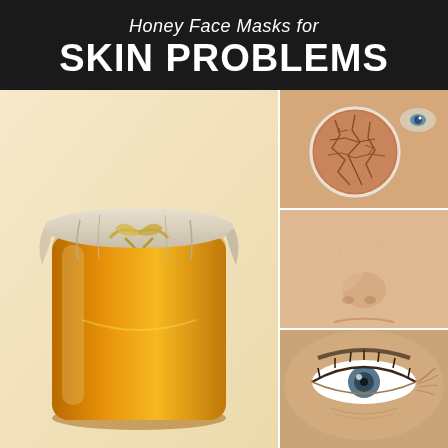Honey Face Masks for SKIN PROBLEMS
[Figure (photo): Collage image: large jar of golden honey with cloth cover on left, and three stacked skin close-up photos on right showing dry cracked skin, smooth skin, and wrinkled eye area]
[Figure (photo): Close-up of woman's face with magnified circle showing dry cracked skin texture]
[Figure (photo): Close-up of smooth skin on woman's cheek and nose area]
[Figure (photo): Close-up of woman's eye showing fine lines and wrinkles]